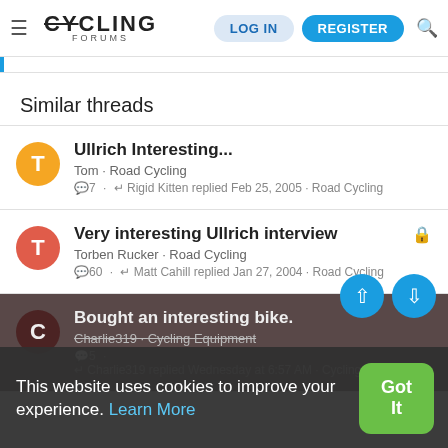Cycling Forums — LOG IN | REGISTER
Similar threads
Ullrich Interesting... — Tom · Road Cycling — 7 replies · Rigid Kitten replied Feb 25, 2005 · Road Cycling
Very interesting Ullrich interview — Torben Rucker · Road Cycling — 60 replies · Matt Cahill replied Jan 27, 2004 · Road Cycling
Bought an interesting bike. — Charlie319 · Cycling Equipment — 5 replies · Charlie319 replied Wednesday at 6:57 AM · Cycling Equipment
This website uses cookies to improve your experience. Learn More